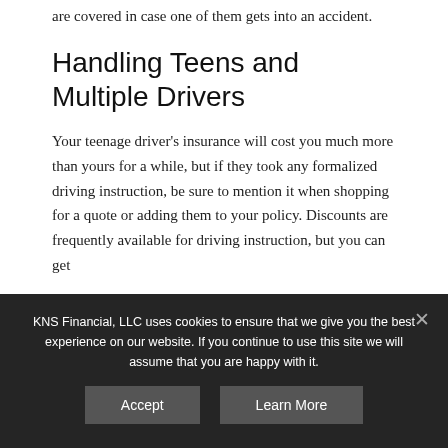are covered in case one of them gets into an accident.
Handling Teens and Multiple Drivers
Your teenage driver's insurance will cost you much more than yours for a while, but if they took any formalized driving instruction, be sure to mention it when shopping for a quote or adding them to your policy. Discounts are frequently available for driving instruction, but you can get
KNS Financial, LLC uses cookies to ensure that we give you the best experience on our website. If you continue to use this site we will assume that you are happy with it.